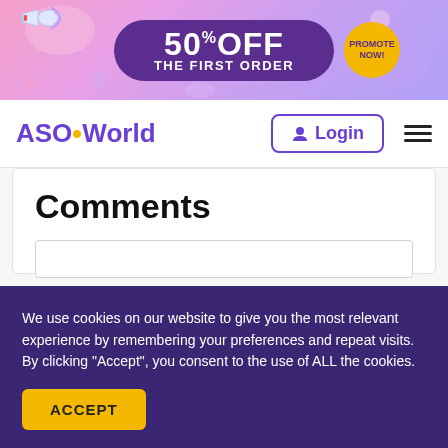[Figure (infographic): Promotional banner with pink/purple gradient background, megaphone illustration, pill-shaped purple area reading '50% OFF THE FIRST ORDER', and a yellow circular badge saying 'PROMOTE NOW!']
ASO World  Login
Comments
We use cookies on our website to give you the most relevant experience by remembering your preferences and repeat visits. By clicking "Accept", you consent to the use of ALL the cookies.
ACCEPT